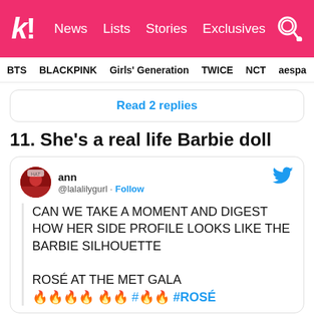Koreaboo | News  Lists  Stories  Exclusives
BTS  BLACKPINK  Girls' Generation  TWICE  NCT  aespa
Read 2 replies
11. She's a real life Barbie doll
[Figure (screenshot): Tweet from ann (@lalalilygurl) with Twitter Follow button. Tweet text: CAN WE TAKE A MOMENT AND DIGEST HOW HER SIDE PROFILE LOOKS LIKE THE BARBIE SILHOUETTE
ROSÉ AT THE MET GALA 🔥🔥🔥🔥 🔥🔥 #🔥🔥 #ROSÉ]